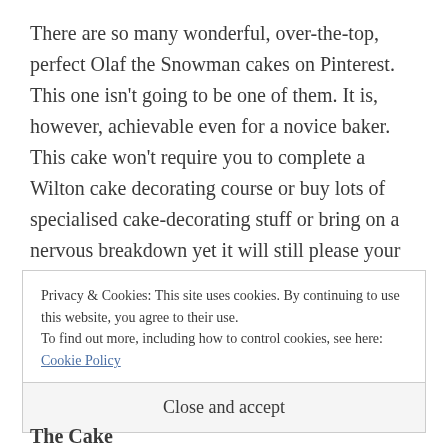There are so many wonderful, over-the-top, perfect Olaf the Snowman cakes on Pinterest. This one isn't going to be one of them. It is, however, achievable even for a novice baker. This cake won't require you to complete a Wilton cake decorating course or buy lots of specialised cake-decorating stuff or bring on a nervous breakdown yet it will still please your little Princess Elsa. A win for everyone!
Privacy & Cookies: This site uses cookies. By continuing to use this website, you agree to their use. To find out more, including how to control cookies, see here: Cookie Policy
Close and accept
The Cake